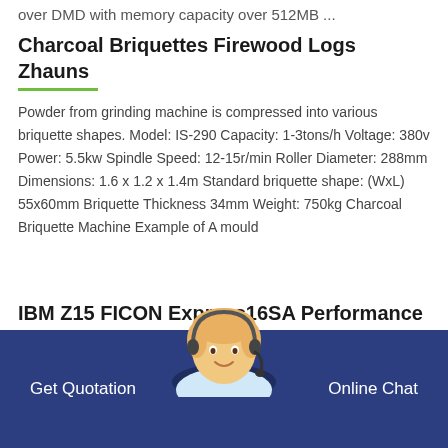over DMD with memory capacity over 512MB ...
Charcoal Briquettes Firewood Logs Zhauns
Powder from grinding machine is compressed into various briquette shapes. Model: IS-290 Capacity: 1-3tons/h Voltage: 380v Power: 5.5kw Spindle Speed: 12-15r/min Roller Diameter: 288mm Dimensions: 1.6 x 1.2 x 1.4m Standard briquette shape: (WxL) 55x60mm Briquette Thickness 34mm Weight: 750kg Charcoal Briquette Machine Example of A mould
IBM Z15 FICON Express16SA Performance January 2020
Get Quotation
Online Chat